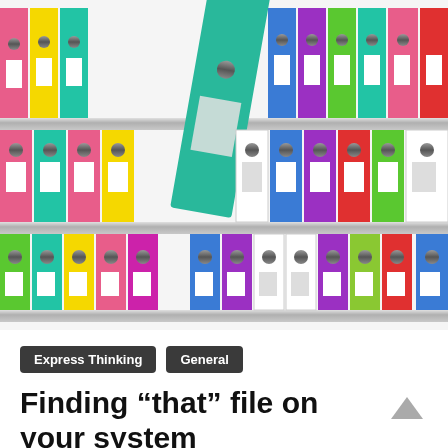[Figure (photo): Colorful filing binders/folders on shelves, with one green binder being pulled out in the center. The binders are in various colors including pink, yellow, green, purple, blue, red, teal, and white, arranged on multiple shelves.]
Express Thinking   General
Finding “that” file on your system
November 10, 2018   Martin Adams   0 Comments